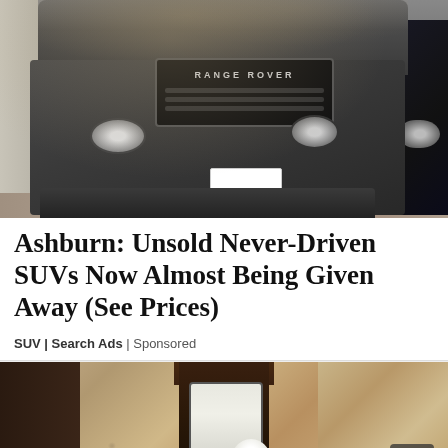[Figure (photo): Photo of a dirty black Range Rover SUV parked next to another dark vehicle, viewed from the front. The Range Rover has dust on its hood, visible grille with RANGE ROVER badge, and headlights. A beige/sandy ground and partial wall visible.]
Ashburn: Unsold Never-Driven SUVs Now Almost Being Given Away (See Prices)
SUV | Search Ads | Sponsored
[Figure (photo): Photo of an outdoor wall-mounted lantern/lamp fixture on a rough stucco wall. The lamp has a dark metal frame and a white bulb visible inside. A share/upload icon button is visible in the bottom-right corner.]